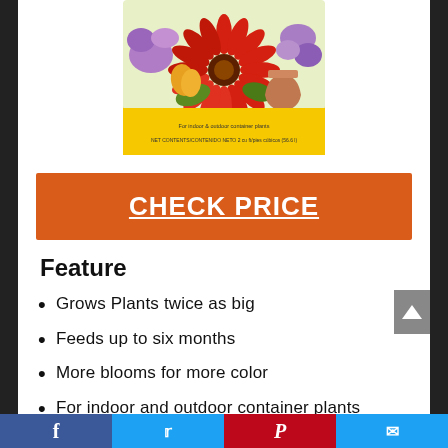[Figure (photo): Product image of a yellow bag of plant fertilizer with a large red gerbera daisy and other flowers on the packaging. Text at bottom of bag reads: NET CONTENTS/CONTENIDO NETO 2 cu ft/pies cúbicos (56.6 l)]
CHECK PRICE
Feature
Grows Plants twice as big
Feeds up to six months
More blooms for more color
For indoor and outdoor container plants